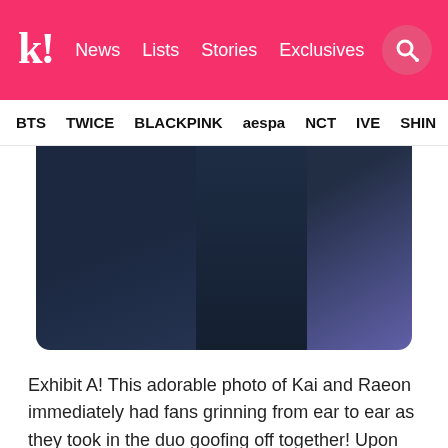k! News  Lists  Stories  Exclusives
BTS  TWICE  BLACKPINK  aespa  NCT  IVE  SHIN
[Figure (photo): Dark moody photo showing figures in dark navy/blue tones, left and right side with lighter blue-purple tones on the right edge]
Exhibit A! This adorable photo of Kai and Raeon immediately had fans grinning from ear to ear as they took in the duo goofing off together! Upon closer inspection, however, fans soon realized that Raeon was wearing a Gucci jacket further proven by Kai's "Gucci Raeon-ni" comment